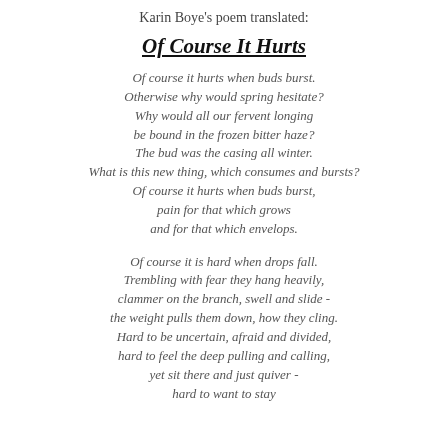Karin Boye's poem translated:
Of Course It Hurts
Of course it hurts when buds burst.
Otherwise why would spring hesitate?
Why would all our fervent longing
be bound in the frozen bitter haze?
The bud was the casing all winter.
What is this new thing, which consumes and bursts?
Of course it hurts when buds burst,
pain for that which grows
and for that which envelops.
Of course it is hard when drops fall.
Trembling with fear they hang heavily,
clammer on the branch, swell and slide -
the weight pulls them down, how they cling.
Hard to be uncertain, afraid and divided,
hard to feel the deep pulling and calling,
yet sit there and just quiver -
hard to want to stay